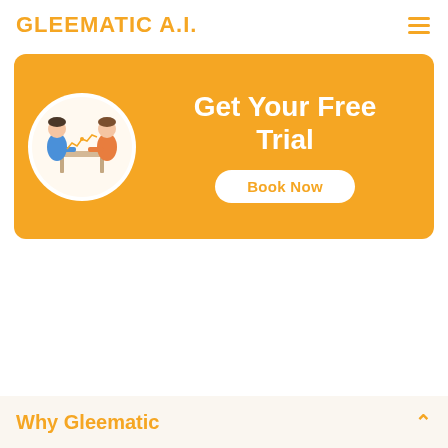GLEEMATIC A.I.
[Figure (infographic): Orange banner with circular illustration of two people sitting at a table, bold white text 'Get Your Free Trial' and a white rounded button labeled 'Book Now']
Why Gleematic